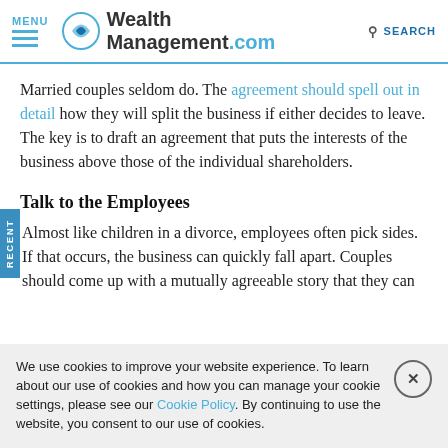MENU | WealthManagement.com | SEARCH
Married couples seldom do. The agreement should spell out in detail how they will split the business if either decides to leave. The key is to draft an agreement that puts the interests of the business above those of the individual shareholders.
Talk to the Employees
Almost like children in a divorce, employees often pick sides. If that occurs, the business can quickly fall apart. Couples should come up with a mutually agreeable story that they can
We use cookies to improve your website experience. To learn about our use of cookies and how you can manage your cookie settings, please see our Cookie Policy. By continuing to use the website, you consent to our use of cookies.